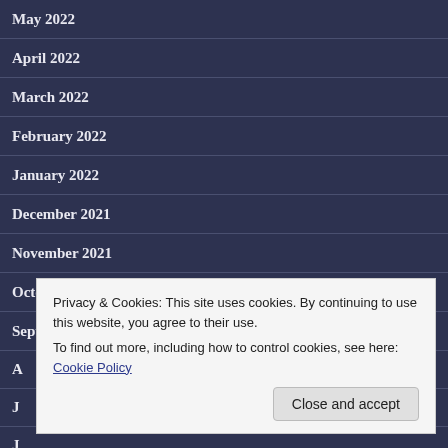May 2022
April 2022
March 2022
February 2022
January 2022
December 2021
November 2021
October 2021
September 2021
A…
J…
J…
May 2021
Privacy & Cookies: This site uses cookies. By continuing to use this website, you agree to their use.
To find out more, including how to control cookies, see here: Cookie Policy